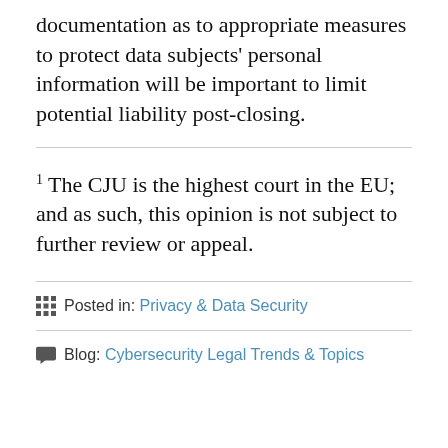documentation as to appropriate measures to protect data subjects' personal information will be important to limit potential liability post-closing.
1 The CJU is the highest court in the EU;  and as such, this opinion is not subject to further review or appeal.
Posted in: Privacy & Data Security
Blog: Cybersecurity Legal Trends & Topics